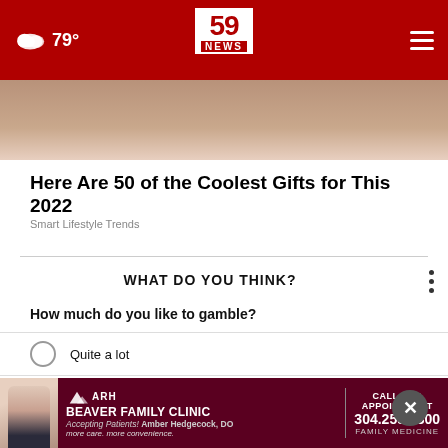59 NEWS — 79°
[Figure (photo): Close-up photo strip of a person's hand/fingers]
Here Are 50 of the Coolest Gifts for This 2022
Smart Lifestyle Trends
WHAT DO YOU THINK?
How much do you like to gamble?
Quite a lot
Just a bit
Not at all
[Figure (photo): ARH Beaver Family Clinic advertisement banner — Accepting Patients! Amber Hedgecock, DO — more care. more convenience. — CALL FOR APPOINTMENT 304.255.1300 FAMILY MEDICINE]